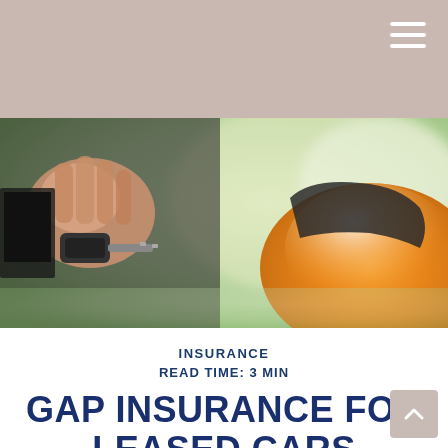[Figure (photo): Close-up photo of a hand holding car keys near an orange car, with blurred green background]
INSURANCE
READ TIME: 3 MIN
GAP INSURANCE FOR LEASED CARS
One of the attractions of leasing a car is that it generally requires a much smaller upfront outlay of cash compared to what purchasing a car might require.